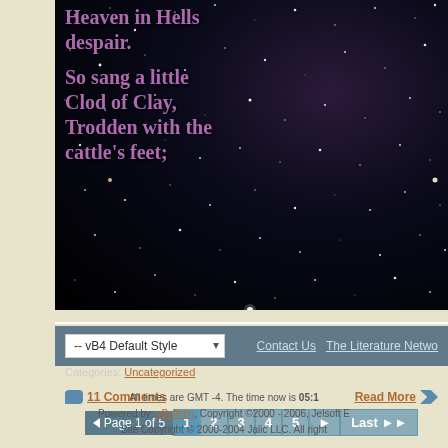Heaven in Hells despair.

So sang a little Clod of Clay, Trodden with the cattle's feet;
Categories: Uncategorized
11 Comments   Read More
Page 1 of 5  1  2  3  4  5  ▶  Last ▶▶
-- vB4 Default Style    Contact Us   The Literature Netwo
All times are GMT -4. The time now is 05:1
Powered by: vBulletin, Copyright ©2000 - 2006, Jelsoft E
Site Copyright © 2000-2004 Jalic LLC. All right